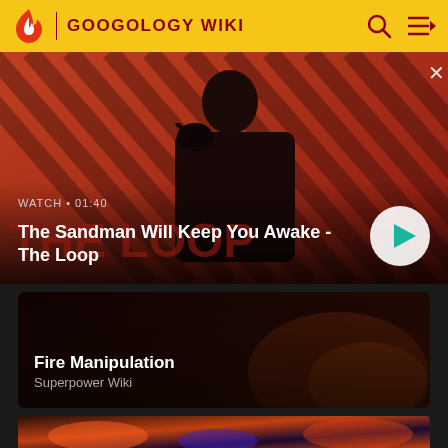GOOGOLOGY WIKI
[Figure (screenshot): Video thumbnail showing a dark-robed figure with a raven on shoulder against a red diagonal striped background. Title card reads 'The Sandman Will Keep You Awake - The Loop'. Watch duration label shows '01:40'. A circular play button is visible at bottom right.]
The Sandman Will Keep You Awake - The Loop
[Figure (screenshot): Dark card with fire/energy visual background showing 'Fire Manipulation' title and 'Superpower Wiki' subtitle]
Fire Manipulation
Superpower Wiki
[Figure (photo): Bottom image strip showing a fire/magic-themed scene, partially visible at the bottom of the page]